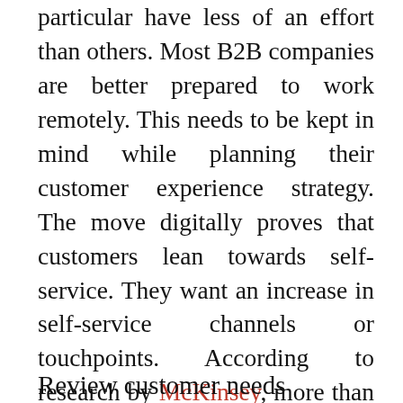particular have less of an effort than others. Most B2B companies are better prepared to work remotely. This needs to be kept in mind while planning their customer experience strategy. The move digitally proves that customers lean towards self-service. They want an increase in self-service channels or touchpoints. According to research by McKinsey, more than 60 percent of B2B customers want an increase in self serviced channel.
Review customer needs